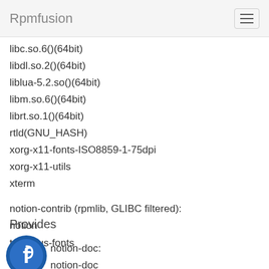Rpmfusion
libc.so.6()(64bit)
libdl.so.2()(64bit)
liblua-5.2.so()(64bit)
libm.so.6()(64bit)
librt.so.1()(64bit)
rtld(GNU_HASH)
xorg-x11-fonts-ISO8859-1-75dpi
xorg-x11-utils
xterm
notion-contrib (rpmlib, GLIBC filtered):
notion
terminus-fonts
Provides
[Figure (logo): Fedora logo — blue circular icon with stylized 'f']
notion-doc:
notion-doc